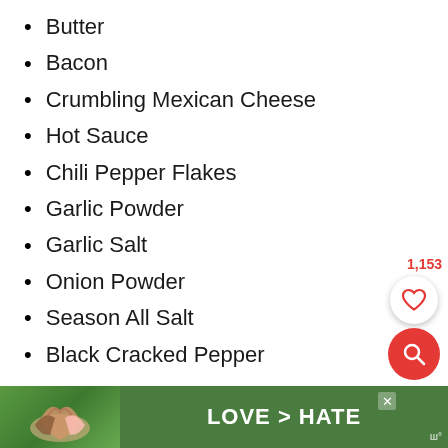Butter
Bacon
Crumbling Mexican Cheese
Hot Sauce
Chili Pepper Flakes
Garlic Powder
Garlic Salt
Onion Powder
Season All Salt
Black Cracked Pepper
[Figure (screenshot): Advertisement banner: hands forming heart shape with text LOVE > HATE on green background]